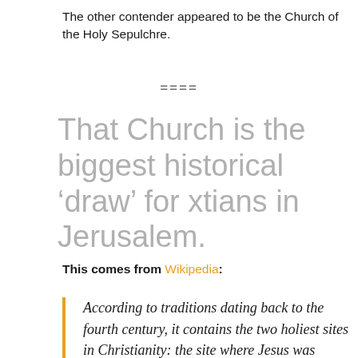The other contender appeared to be the Church of the Holy Sepulchre.
====
That Church is the biggest historical ‘draw’ for xtians in Jerusalem.
This comes from Wikipedia:
According to traditions dating back to the fourth century, it contains the two holiest sites in Christianity: the site where Jesus was crucified, at a place known as Calvary or